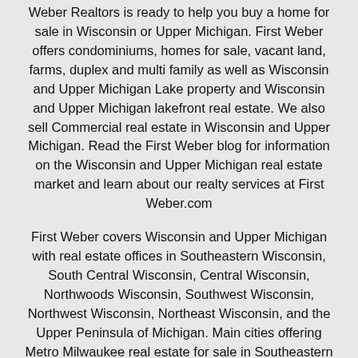Weber Realtors is ready to help you buy a home for sale in Wisconsin or Upper Michigan. First Weber offers condominiums, homes for sale, vacant land, farms, duplex and multi family as well as Wisconsin and Upper Michigan Lake property and Wisconsin and Upper Michigan lakefront real estate. We also sell Commercial real estate in Wisconsin and Upper Michigan. Read the First Weber blog for information on the Wisconsin and Upper Michigan real estate market and learn about our realty services at First Weber.com
First Weber covers Wisconsin and Upper Michigan with real estate offices in Southeastern Wisconsin, South Central Wisconsin, Central Wisconsin, Northwoods Wisconsin, Southwest Wisconsin, Northwest Wisconsin, Northeast Wisconsin, and the Upper Peninsula of Michigan. Main cities offering Metro Milwaukee real estate for sale in Southeastern WI include Milwaukee, Brown Deer, Shorewood, Brookfield, Mequon, Waukesha, Elm Grove, Menomonee Falls, West Bend, Racine, Wauwatosa, Pewaukee, Delafield. Main Cities offering